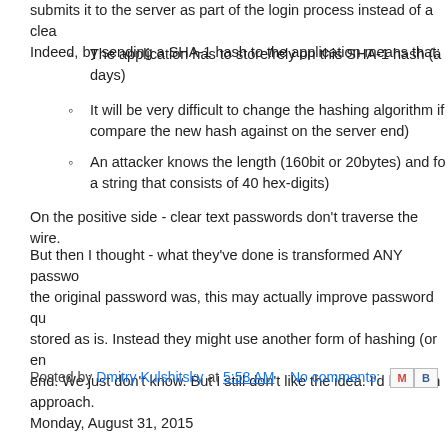submits it to the server as part of the login process instead of a clear... Indeed, by sending a SHA-1 hash to the application means that:
The application has to store/rely on this SHA-1 hash (a... days)
It will be very difficult to change the hashing algorithm if... compare the new hash against on the server end)
An attacker knows the length (160bit or 20bytes) and fo... a string that consists of 40 hex-digits)
On the positive side - clear text passwords don't traverse the wire.
But then I thought - what they've done is transformed ANY passwo... the original password was, this may actually improve password qu... stored as is. Instead they might use another form of hashing (or en... end. We just don't know. But I still don't like the idea. I'd be keen... approach.
Posted by Dmitry Kulshitsky at 5:58 AM   No comments:
Monday, August 31, 2015